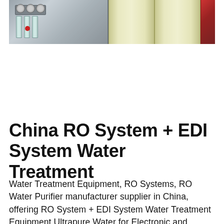[Figure (photo): Industrial water treatment equipment showing a stainless steel control panel with gauges, flowmeters and a red indicator on the left, two large vertical cylindrical filter housings (yellowish/beige color) in the center, and a red-colored component on the right edge.]
China RO System + EDI System Water Treatment
Water Treatment Equipment, RO Systems, RO Water Purifier manufacturer supplier in China, offering RO System + EDI System Water Treatment Equipment Ultrapure Water for Electronic and Medicine Industry, Automatic Control System Seawater Desaliantion for Marino Water Maker, Reverse Osmosis Water Treatment